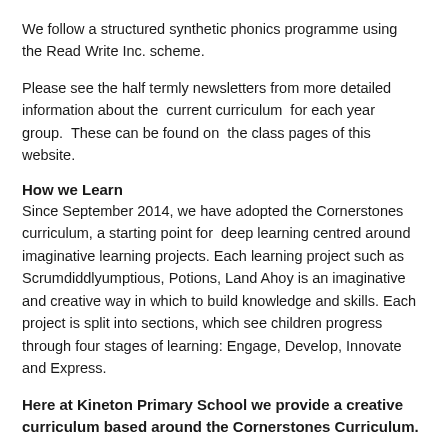We follow a structured synthetic phonics programme using the Read Write Inc. scheme.
Please see the half termly newsletters from more detailed information about the current curriculum for each year group. These can be found on the class pages of this website.
How we Learn
Since September 2014, we have adopted the Cornerstones curriculum, a starting point for deep learning centred around imaginative learning projects. Each learning project such as Scrumdiddlyumptious, Potions, Land Ahoy is an imaginative and creative way in which to build knowledge and skills. Each project is split into sections, which see children progress through four stages of learning: Engage, Develop, Innovate and Express.
Here at Kineton Primary School we provide a creative curriculum based around the Cornerstones Curriculum.
What is the Cornerstones Curriculum?